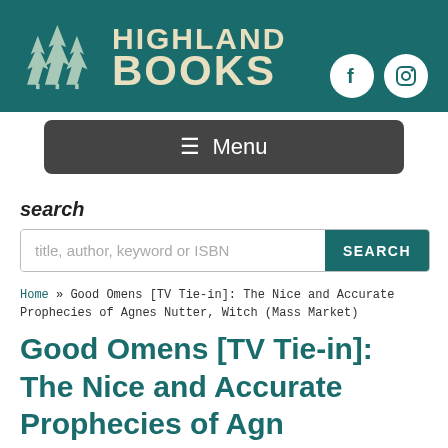[Figure (logo): Highland Books logo with pine trees silhouette and brand name on teal background with Facebook and Instagram icons]
☰ Menu
search
title, author, keyword or ISBN SEARCH
Home » Good Omens [TV Tie-in]: The Nice and Accurate Prophecies of Agnes Nutter, Witch (Mass Market)
Good Omens [TV Tie-in]: The Nice and Accurate Prophecies of Agn...